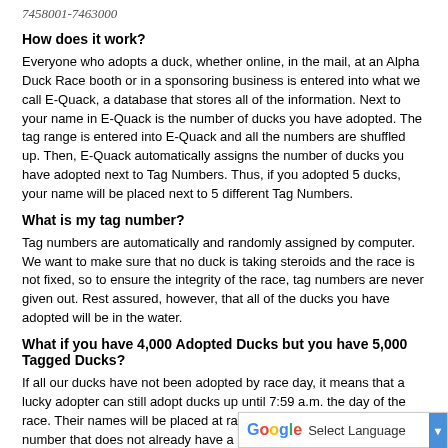7458001-7463000
How does it work?
Everyone who adopts a duck, whether online, in the mail, at an Alpha Duck Race booth or in a sponsoring business is entered into what we call E-Quack, a database that stores all of the information. Next to your name in E-Quack is the number of ducks you have adopted. The tag range is entered into E-Quack and all the numbers are shuffled up. Then, E-Quack automatically assigns the number of ducks you have adopted next to Tag Numbers. Thus, if you adopted 5 ducks, your name will be placed next to 5 different Tag Numbers.
What is my tag number?
Tag numbers are automatically and randomly assigned by computer. We want to make sure that no duck is taking steroids and the race is not fixed, so to ensure the integrity of the race, tag numbers are never given out. Rest assured, however, that all of the ducks you have adopted will be in the water.
What if you have 4,000 Adopted Ducks but you have 5,000 Tagged Ducks?
If all our ducks have not been adopted by race day, it means that a lucky adopter can still adopt ducks up until 7:59 a.m. the day of the race. Their names will be placed at random into the mix, next to a number that does not already have a name by it. A… a.m. before the race begins, as long as th…